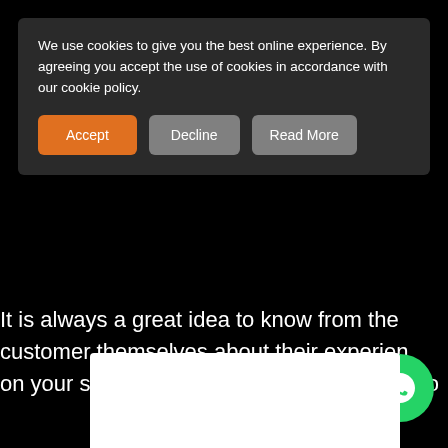We use cookies to give you the best online experience. By agreeing you accept the use of cookies in accordance with our cookie policy.
Accept | Decline | Read More
Try asking your customer
It is always a great idea to know from the customer themselves about their experience on your site. Add a short survey on the way o
[Figure (other): WhatsApp floating button icon (green circle with white phone/chat icon)]
[Figure (other): White rectangular image/content area at bottom of page]